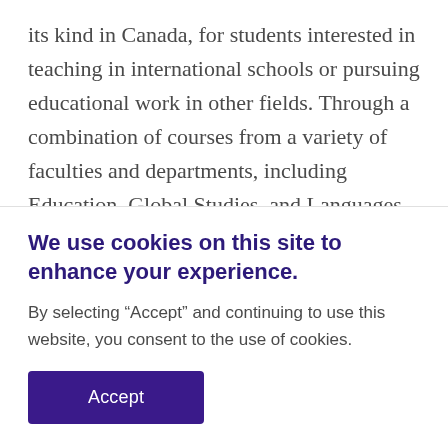its kind in Canada, for students interested in teaching in international schools or pursuing educational work in other fields. Through a combination of courses from a variety of faculties and departments, including Education, Global Studies, and Languages and Literatures, students cultivate intercultural competencies, build global awareness and learn teaching philosophies and
We use cookies on this site to enhance your experience.
By selecting “Accept” and continuing to use this website, you consent to the use of cookies.